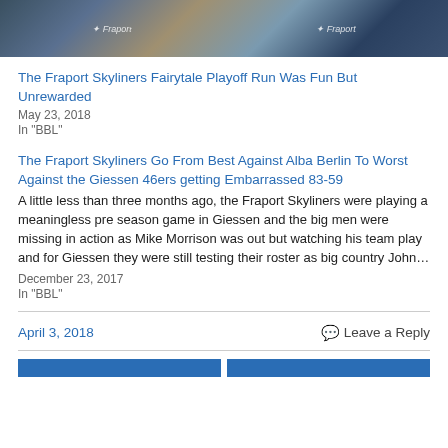[Figure (photo): Photo of people in Fraport branded clothing, partial view showing torsos and hands, blue background with Fraport logos]
The Fraport Skyliners Fairytale Playoff Run Was Fun But Unrewarded
May 23, 2018
In "BBL"
The Fraport Skyliners Go From Best Against Alba Berlin To Worst Against the Giessen 46ers getting Embarrassed 83-59
A little less than three months ago, the Fraport Skyliners were playing a meaningless pre season game in Giessen and the big men were missing in action as Mike Morrison was out but watching his team play and for Giessen they were still testing their roster as big country John…
December 23, 2017
In "BBL"
April 3, 2018
Leave a Reply